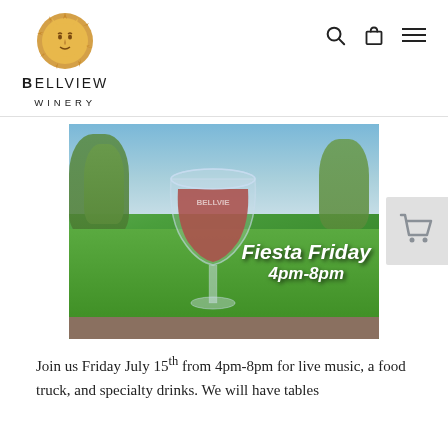[Figure (logo): Bellview Winery logo: sun face illustration above text BELLVIEW WINERY]
[Figure (photo): A Bellview Winery branded wine glass filled with red wine, sitting on an outdoor table with green lawn and trees in background. Overlaid italic bold text reads 'Fiesta Friday 4pm-8pm']
Join us Friday July 15th from 4pm-8pm for live music, a food truck, and specialty drinks. We will have tables